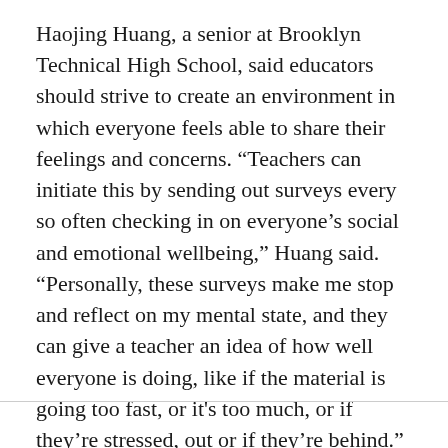Haojing Huang, a senior at Brooklyn Technical High School, said educators should strive to create an environment in which everyone feels able to share their feelings and concerns. “Teachers can initiate this by sending out surveys every so often checking in on everyone’s social and emotional wellbeing,” Huang said. “Personally, these surveys make me stop and reflect on my mental state, and they can give a teacher an idea of how well everyone is doing, like if the material is going too fast, or it's too much, or if they’re stressed, out or if they’re behind.”